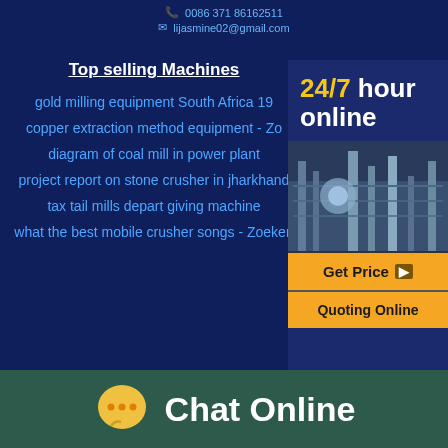lijasmine02@gmail.com
Top selling Machines
gold milling equipment South Africa 19
copper extraction method equipment - Zo
diagram of coal mill in power plant
project report on stone crusher in jharkhand
tax tail mills depart giving machine
what the best mobile crusher songs - Zoeken
[Figure (photo): Industrial mining/crushing equipment facility with conveyor belts and machinery]
24/7 hour online
Get Price
Quoting Online
Chat Online